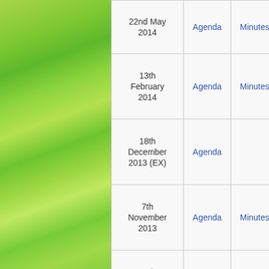[Figure (photo): Green grassy/leafy blurred background photo on left side of page]
| Date | Agenda | Minutes |  |
| --- | --- | --- | --- |
| 22nd May 2014 | Agenda | Minutes |  |
| 13th February 2014 | Agenda | Minutes |  |
| 18th December 2013 (EX) | Agenda |  |  |
| 7th November 2013 | Agenda | Minutes |  |
| 12th September 2013 | Agenda | Minutes |  |
| 9th May 2013 | Agenda | Minutes |  |
| 7th February 2013 | Agenda | Minutes |  |